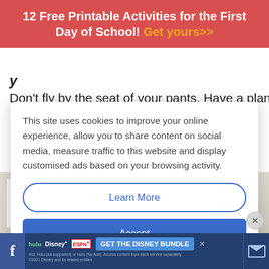12 Free Printable Activities for the First Day of School! Get yours>>
y
Don't fly by the seat of your pants. Have a plan and
This site uses cookies to improve your online experience, allow you to share content on social media, measure traffic to this website and display customised ads based on your browsing activity.
Learn More
Accept
[Figure (photo): Photo of planning notebooks, a purple ruler, and a small group plans planner with a pink sticky note]
hulu Disney+ ESPN+ GET THE DISNEY BUNDLE Incl. Hulu (ad-supported) or Hulu (No Ads). Access content from each service separately. ©2021 Disney and its related entities